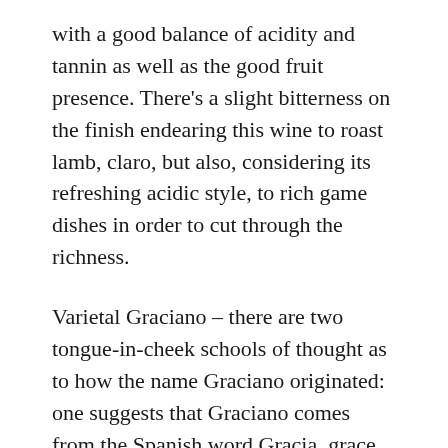with a good balance of acidity and tannin as well as the good fruit presence. There's a slight bitterness on the finish endearing this wine to roast lamb, claro, but also, considering its refreshing acidic style, to rich game dishes in order to cut through the richness.
Varietal Graciano – there are two tongue-in-cheek schools of thought as to how the name Graciano originated: one suggests that Graciano comes from the Spanish word Gracia, grace or joy in English, suggesting an elegant, graceful wine; and the other, rather more derogatory suggestion, is that it comes from Rioja growers of old whose response when offered this variety to grow in their vineyards